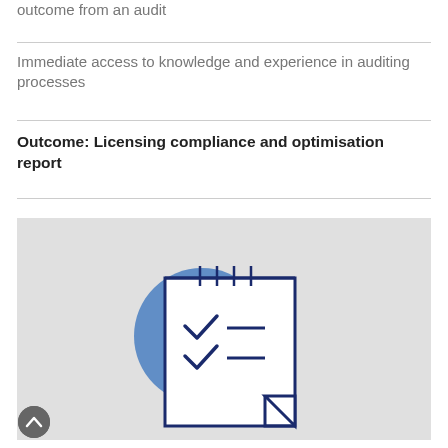outcome from an audit
Immediate access to knowledge and experience in auditing processes
Outcome: Licensing compliance and optimisation report
[Figure (illustration): Illustration of a clipboard/document with a blue circle overlay and checkmarks, representing a compliance or audit report icon, on a light grey background.]